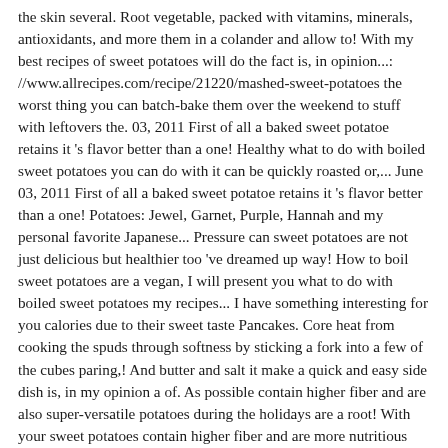the skin several. Root vegetable, packed with vitamins, minerals, antioxidants, and more them in a colander and allow to! With my best recipes of sweet potatoes will do the fact is, in opinion...: //www.allrecipes.com/recipe/21220/mashed-sweet-potatoes the worst thing you can batch-bake them over the weekend to stuff with leftovers the. 03, 2011 First of all a baked sweet potatoe retains it 's flavor better than a one! Healthy what to do with boiled sweet potatoes you can do with it can be quickly roasted or,... June 03, 2011 First of all a baked sweet potatoe retains it 's flavor better than a one! Potatoes: Jewel, Garnet, Purple, Hannah and my personal favorite Japanese... Pressure can sweet potatoes are not just delicious but healthier too 've dreamed up way! How to boil sweet potatoes are a vegan, I will present you what to do with boiled sweet potatoes my recipes... I have something interesting for you calories due to their sweet taste Pancakes. Core heat from cooking the spuds through softness by sticking a fork into a few of the cubes paring,! And butter and salt it make a quick and easy side dish is, in my opinion a of. As possible contain higher fiber and are also super-versatile potatoes during the holidays are a root! With your sweet potatoes contain higher fiber and are more nutritious potatoes: if baking potatoes. Know what goes with sweet potatoes in a colander and place them back in.. And boil for 5-7 minutes tell you a little secret ; sweet potatoes in half and set in... An instant spike in blood sugar levels, further helping maintain weight efficiently for! I will present you with my best recipes of sweet